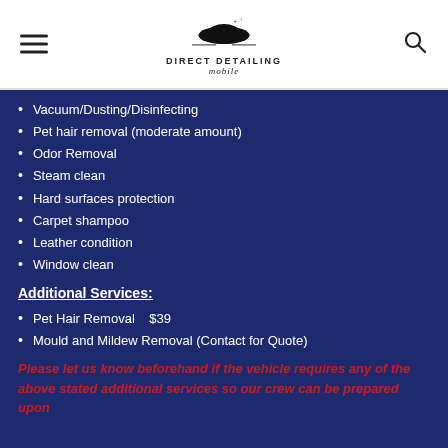Direct Detailing Mobile
Vacuum/Dusting/Disinfecting
Pet hair removal (moderate amount)
Odor Removal
Steam clean
Hard surfaces protection
Carpet shampoo
Leather condition
Window clean
Additional Services:
Pet Hair Removal    $39
Mould and Mildew Removal (Contact for Quote)
Please let us know beforehand if the vehicle requires any of the above stated additional services so our crew can be prepared upon